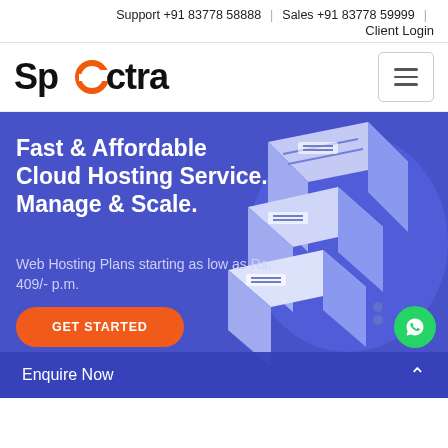Support +91 83778 58888  |  Sales +91 83778 59999  |  Client Login
[Figure (logo): Spectra logo with orange circular 'e' and black text]
Fast & Affordable Cloud Hosting Service. Manage & Scale.
Web Hosting Plans starting as low as Rs. 409/- p.m.
GET STARTED
[Figure (illustration): 3D isometric server rack illustration on blue/purple background]
Enquire Now